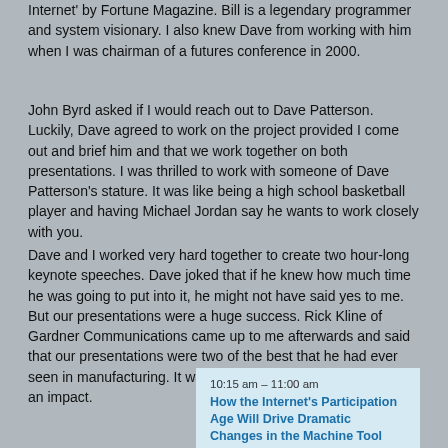Internet' by Fortune Magazine. Bill is a legendary programmer and system visionary. I also knew Dave from working with him when I was chairman of a futures conference in 2000.
John Byrd asked if I would reach out to Dave Patterson. Luckily, Dave agreed to work on the project provided I come out and brief him and that we work together on both presentations. I was thrilled to work with someone of Dave Patterson's stature. It was like being a high school basketball player and having Michael Jordan say he wants to work closely with you.
Dave and I worked very hard together to create two hour-long keynote speeches. Dave joked that if he knew how much time he was going to put into it, he might not have said yes to me. But our presentations were a huge success. Rick Kline of Gardner Communications came up to me afterwards and said that our presentations were two of the best that he had ever seen in manufacturing. It was great to see that we'd had such an impact.
10:15 am – 11:00 am
How the Internet's Participation Age Will Drive Dramatic Changes in the Machine Tool Industry